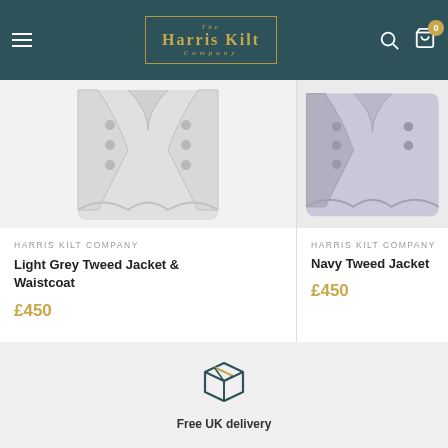The Harris Kilt Company
[Figure (photo): Light grey tweed jacket and waistcoat product photo]
HARRIS KILT COMPANY
Light Grey Tweed Jacket & Waistcoat
£450
[Figure (photo): Navy tweed jacket product photo (partially visible)]
HARRIS KILT COMPANY
Navy Tweed Jacket
£450
[Figure (illustration): Box/package icon for free UK delivery]
Free UK delivery